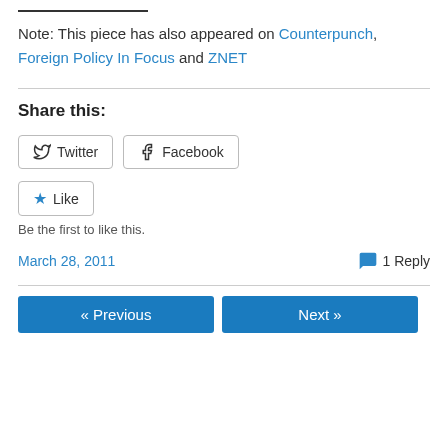Note: This piece has also appeared on Counterpunch, Foreign Policy In Focus and ZNET
Share this:
Twitter  Facebook
Like  Be the first to like this.
March 28, 2011   1 Reply
« Previous   Next »